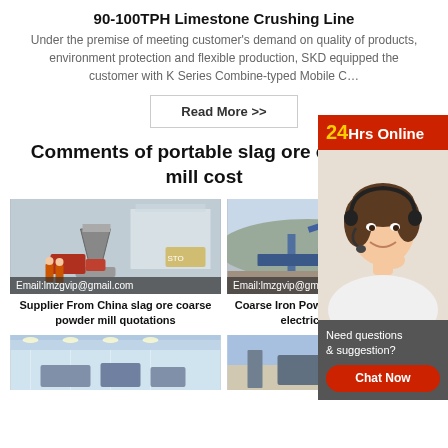90-100TPH Limestone Crushing Line
Under the premise of meeting customer's demand on quality of products, environment protection and flexible production, SKD equipped the customer with K Series Combine-typed Mobile C…
Read More >>
Comments of portable slag ore coarse powder mill cost
[Figure (photo): Industrial machinery/crusher at a factory site with workers in orange. Email:lmzgvip@gmail.com overlay.]
Supplier From China slag ore coarse powder mill quotations
[Figure (photo): Industrial facility with conveyor belts on hillside. Email:lmzgvip@gmail.com overlay.]
Coarse Iron Powder Crusher For Sale electricalcontrols.in
[Figure (photo): Interior of industrial facility with overhead lighting.]
[Figure (photo): Outdoor industrial equipment against blue sky.]
[Figure (infographic): Sidebar: 24Hrs Online banner, customer service agent photo, Need questions & suggestion? Chat Now button.]